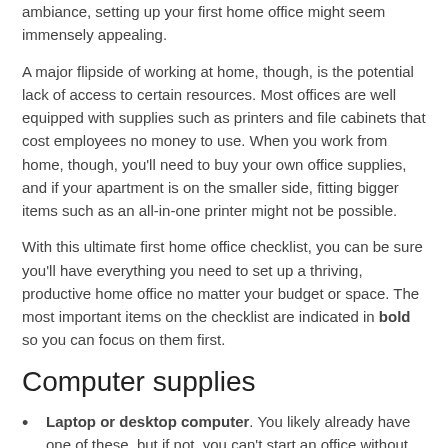ambiance, setting up your first home office might seem immensely appealing.
A major flipside of working at home, though, is the potential lack of access to certain resources. Most offices are well equipped with supplies such as printers and file cabinets that cost employees no money to use. When you work from home, though, you'll need to buy your own office supplies, and if your apartment is on the smaller side, fitting bigger items such as an all-in-one printer might not be possible.
With this ultimate first home office checklist, you can be sure you'll have everything you need to set up a thriving, productive home office no matter your budget or space. The most important items on the checklist are indicated in bold so you can focus on them first.
Computer supplies
Laptop or desktop computer. You likely already have one of these, but if not, you can't start an office without one. A laptop may be better for you if you often work from locations other than your home office.
Computer monitor. A good monitor is an absolute necessity if you're using a desktop computer. If you're using a laptop, a